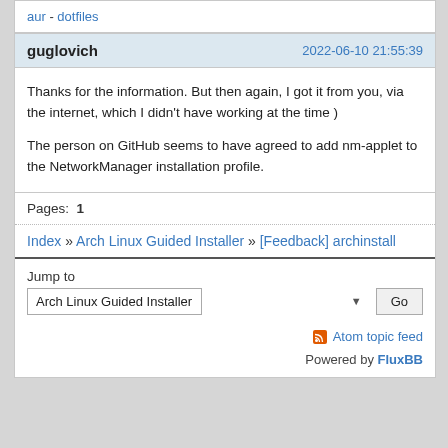aur - dotfiles
guglovich   2022-06-10 21:55:39
Thanks for the information. But then again, I got it from you, via the internet, which I didn't have working at the time )

The person on GitHub seems to have agreed to add nm-applet to the NetworkManager installation profile.
Pages: 1
Index » Arch Linux Guided Installer » [Feedback] archinstall
Jump to
Arch Linux Guided Installer   Go
Atom topic feed
Powered by FluxBB